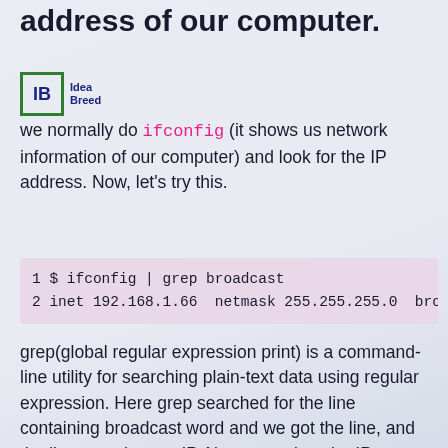address of our computer.
[Figure (logo): IB Idea Breed logo with green border box]
we normally do ifconfig (it shows us network information of our computer) and look for the IP address. Now, let's try this.
grep(global regular expression print) is a command-line utility for searching plain-text data using regular expression. Here grep searched for the line containing broadcast word and we got the line, and the line contains our IP. Now to get just the IP, we use awk, awk is a programming language, we pass the output of the above command to awk, and print the 2nd value of the line.